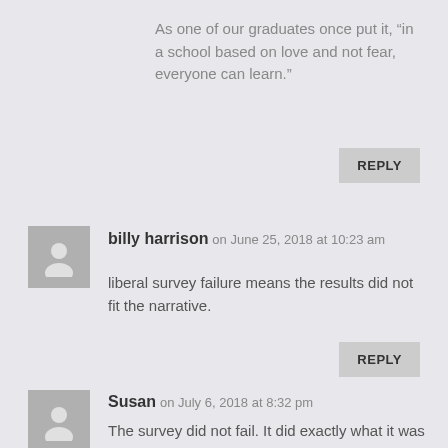As one of our graduates once put it, “in a school based on love and not fear, everyone can learn.”
REPLY
billy harrison on June 25, 2018 at 10:23 am
liberal survey failure means the results did not fit the narrative.
REPLY
Susan on July 6, 2018 at 8:32 pm
The survey did not fail. It did exactly what it was intended to do –